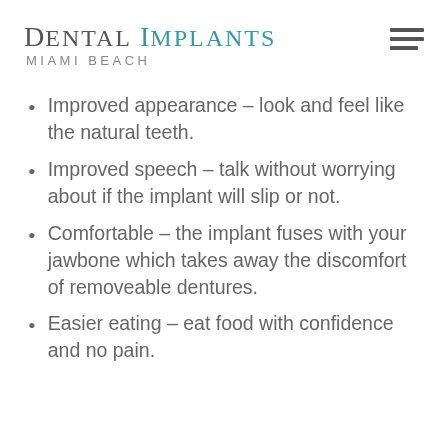Dental Implants Miami Beach
Improved appearance – look and feel like the natural teeth.
Improved speech – talk without worrying about if the implant will slip or not.
Comfortable – the implant fuses with your jawbone which takes away the discomfort of removeable dentures.
Easier eating – eat food with confidence and no pain.